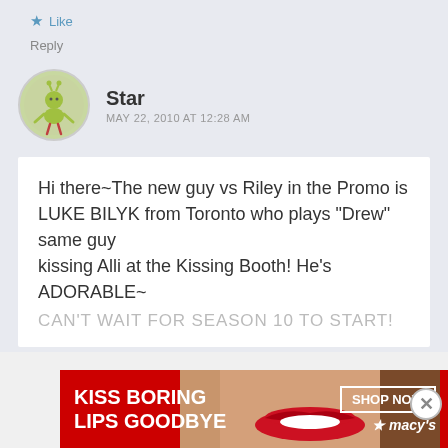★ Like
Reply
Star
MAY 22, 2010 AT 12:28 AM
Hi there~The new guy vs Riley in the Promo is LUKE BILYK from Toronto who plays "Drew" same guy
kissing Alli at the Kissing Booth! He's ADORABLE~
CAN'T WAIT FOR SEASON 10 TO START!
Advertisements
[Figure (photo): Macy's advertisement banner: KISS BORING LIPS GOODBYE with SHOP NOW button and Macy's star logo, woman with red lips]